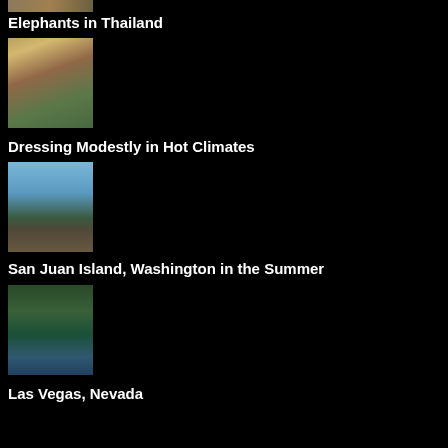[Figure (photo): Partial thumbnail at top, cropped travel/nature image]
Elephants in Thailand
[Figure (photo): People standing at a temple entrance, ornate columns visible]
Dressing Modestly in Hot Climates
[Figure (photo): Coastal rocky shoreline with ocean water and sky]
San Juan Island, Washington in the Summer
[Figure (photo): Person in colorful outfit doing an outdoor activity]
Las Vegas, Nevada